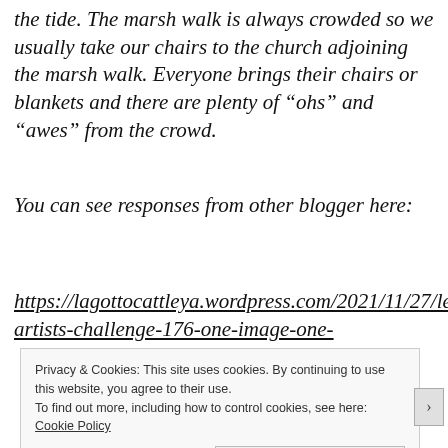the tide. The marsh walk is always crowded so we usually take our chairs to the church adjoining the marsh walk. Everyone brings their chairs or blankets and there are plenty of “ohs” and “awes” from the crowd.
You can see responses from other blogger here: https://lagottocattleya.wordpress.com/2021/11/27/lens-artists-challenge-176-one-image-one-
Privacy & Cookies: This site uses cookies. By continuing to use this website, you agree to their use. To find out more, including how to control cookies, see here: Cookie Policy
Close and accept